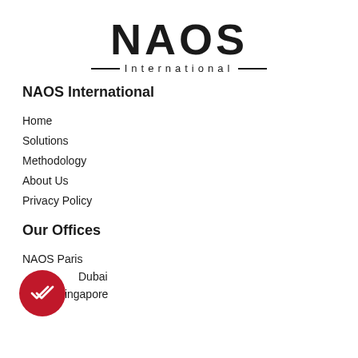[Figure (logo): NAOS International logo with large bold NAOS lettering, decorative O, and 'International' subtitle with horizontal lines]
NAOS International
Home
Solutions
Methodology
About Us
Privacy Policy
Our Offices
NAOS Paris
Dubai
NAOS Singapore